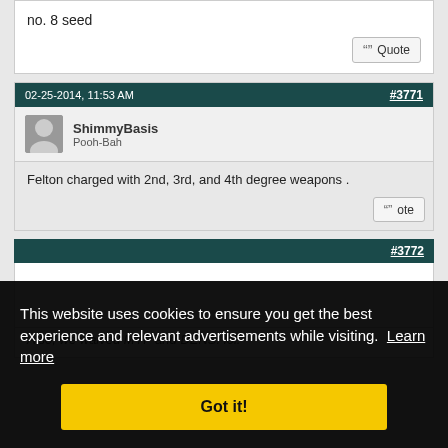no. 8 seed
02-25-2014, 11:53 AM
#3771
ShimmyBasis
Pooh-Bah
Felton charged with 2nd, 3rd, and 4th degree weapons
Also, we waived MVP and DENS. lol.
#3772
This website uses cookies to ensure you get the best experience and relevant advertisements while visiting. Learn more
Got it!